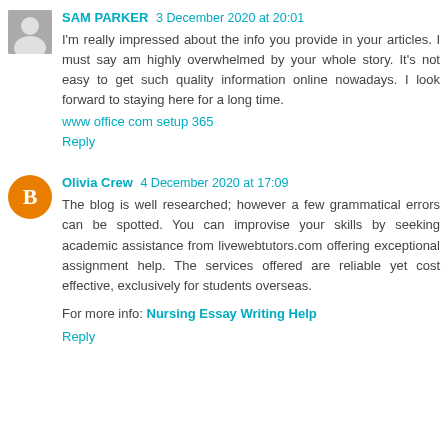SAM PARKER 3 December 2020 at 20:01
I'm really impressed about the info you provide in your articles. I must say am highly overwhelmed by your whole story. It's not easy to get such quality information online nowadays. I look forward to staying here for a long time.
www office com setup 365
Reply
Olivia Crew 4 December 2020 at 17:09
The blog is well researched; however a few grammatical errors can be spotted. You can improvise your skills by seeking academic assistance from livewebtutors.com offering exceptional assignment help. The services offered are reliable yet cost effective, exclusively for students overseas.
For more info: Nursing Essay Writing Help
Reply